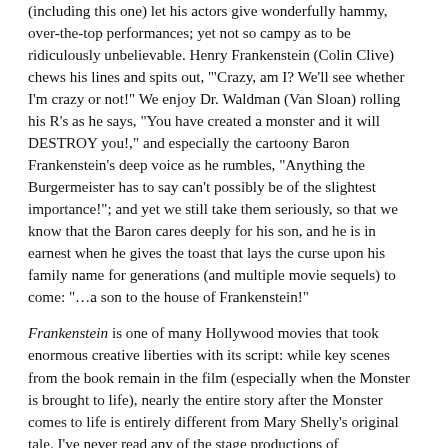(including this one) let his actors give wonderfully hammy, over-the-top performances; yet not so campy as to be ridiculously unbelievable. Henry Frankenstein (Colin Clive) chews his lines and spits out, '"Crazy, am I? We'll see whether I'm crazy or not!" We enjoy Dr. Waldman (Van Sloan) rolling his R's as he says, "You have created a monster and it will DESTROY you!," and especially the cartoony Baron Frankenstein's deep voice as he rumbles, "Anything the Burgermeister has to say can't possibly be of the slightest importance!"; and yet we still take them seriously, so that we know that the Baron cares deeply for his son, and he is in earnest when he gives the toast that lays the curse upon his family name for generations (and multiple movie sequels) to come: "…a son to the house of Frankenstein!"
Frankenstein is one of many Hollywood movies that took enormous creative liberties with its script: while key scenes from the book remain in the film (especially when the Monster is brought to life), nearly the entire story after the Monster comes to life is entirely different from Mary Shelly's original tale. I've never read any of the stage productions of Frankenstein that were performed throughout the 19th and early 20th centuries – and they were numerous – but I would suspect that much of the basic plot is probably borrowed more from the stage plays than